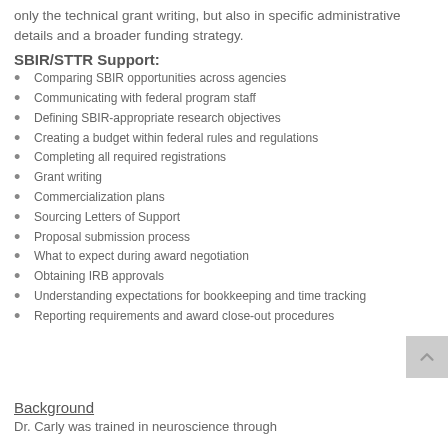only the technical grant writing, but also in specific administrative details and a broader funding strategy.
SBIR/STTR Support:
Comparing SBIR opportunities across agencies
Communicating with federal program staff
Defining SBIR-appropriate research objectives
Creating a budget within federal rules and regulations
Completing all required registrations
Grant writing
Commercialization plans
Sourcing Letters of Support
Proposal submission process
What to expect during award negotiation
Obtaining IRB approvals
Understanding expectations for bookkeeping and time tracking
Reporting requirements and award close-out procedures
Background
Dr. Carly was trained in neuroscience through